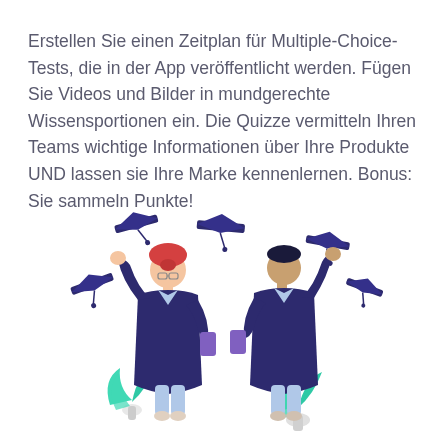Erstellen Sie einen Zeitplan für Multiple-Choice-Tests, die in der App veröffentlicht werden. Fügen Sie Videos und Bilder in mundgerechte Wissensportionen ein. Die Quizze vermitteln Ihren Teams wichtige Informationen über Ihre Produkte UND lassen sie Ihre Marke kennenlernen. Bonus: Sie sammeln Punkte!
[Figure (illustration): Two graduates in dark navy robes celebrating, tossing graduation caps in the air. A woman with red hair and glasses holds a phone, a man stands beside her. Teal/turquoise potted plants are between them. Several dark navy graduation caps float around them.]